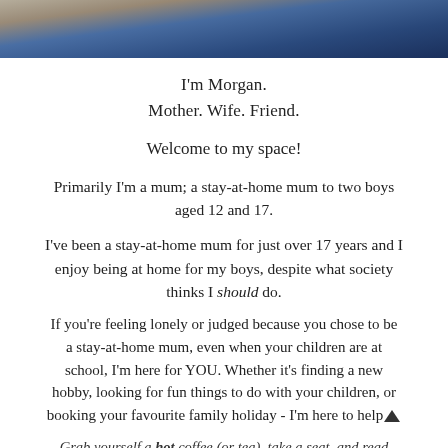[Figure (photo): Partial photo strip at top of page showing a person wearing a blue/grey shirt, cropped to top portion only]
I'm Morgan.
Mother. Wife. Friend.
Welcome to my space!
Primarily I'm a mum; a stay-at-home mum to two boys aged 12 and 17.
I've been a stay-at-home mum for just over 17 years and I enjoy being at home for my boys, despite what society thinks I should do.
If you're feeling lonely or judged because you chose to be a stay-at-home mum, even when your children are at school, I'm here for YOU. Whether it's finding a new hobby, looking for fun things to do with your children, or booking your favourite family holiday - I'm here to help
Grab yourself a hot coffee (or tea), take a seat, and read